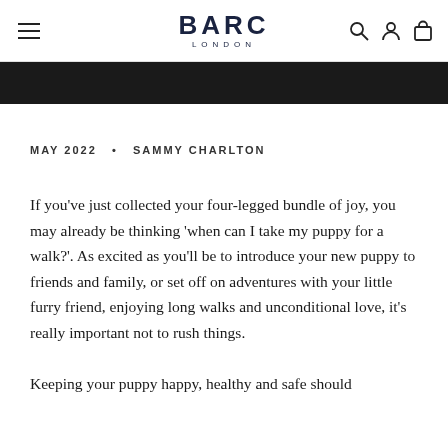BARC LONDON
MAY 2022  •  SAMMY CHARLTON
If you've just collected your four-legged bundle of joy, you may already be thinking 'when can I take my puppy for a walk?'. As excited as you'll be to introduce your new puppy to friends and family, or set off on adventures with your little furry friend, enjoying long walks and unconditional love, it's really important not to rush things.

Keeping your puppy happy, healthy and safe should